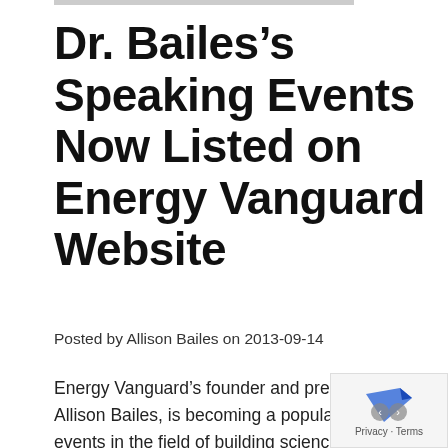Dr. Bailes’s Speaking Events Now Listed on Energy Vanguard Website
Posted by Allison Bailes on 2013-09-14
Energy Vanguard’s founder and president, Dr. Allison Bailes, is becoming a popular speaker at events in the field of building science, green building, and energy efficiency. To make it easier for you to find out wh and where his upcoming...
[Figure (other): Privacy overlay with blue arrow icon and Privacy · Terms text]